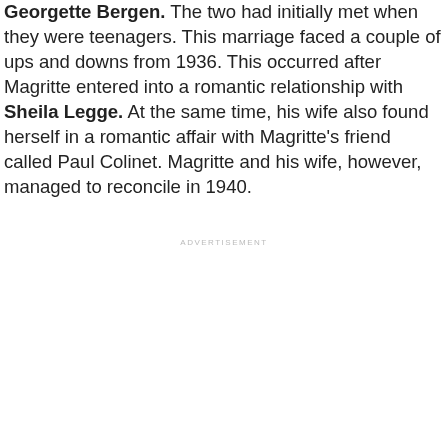Georgette Bergen. The two had initially met when they were teenagers. This marriage faced a couple of ups and downs from 1936. This occurred after Magritte entered into a romantic relationship with Sheila Legge. At the same time, his wife also found herself in a romantic affair with Magritte's friend called Paul Colinet. Magritte and his wife, however, managed to reconcile in 1940.
ADVERTISEMENT